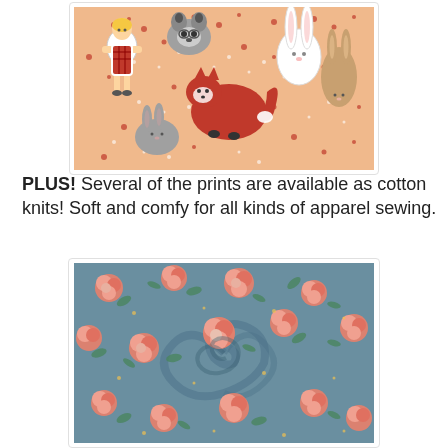[Figure (photo): Fabric panel with illustrated woodland animals and a girl paper doll on a peach/salmon background with red flower accents. Animals include foxes, rabbits, raccoons, and squirrels.]
PLUS! Several of the prints are available as cotton knits! Soft and comfy for all kinds of apparel sewing.
[Figure (photo): Twisted/gathered blue cotton knit fabric with an allover floral print featuring peach/coral roses and small flowers on a teal-blue background.]